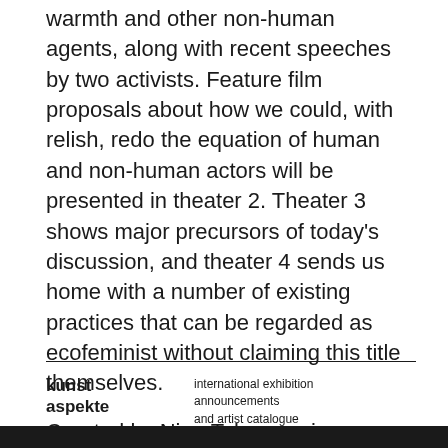warmth and other non-human agents, along with recent speeches by two activists. Feature film proposals about how we could, with relish, redo the equation of human and non-human actors will be presented in theater 2. Theater 3 shows major precursors of today’s discussion, and theater 4 sends us home with a number of existing practices that can be regarded as ecofeminist without claiming this title themselves.
Curated by Nina Tabassomi
kunst aspekte | international exhibition announcements and artist catalogue